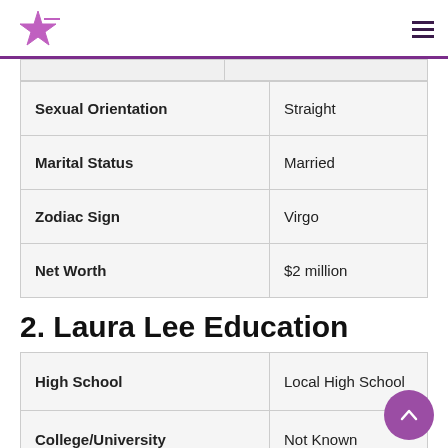The Celebrity Landing [logo with star]
| Sexual Orientation | Straight |
| Marital Status | Married |
| Zodiac Sign | Virgo |
| Net Worth | $2 million |
2. Laura Lee Education
| High School | Local High School |
| College/University | Not Known |